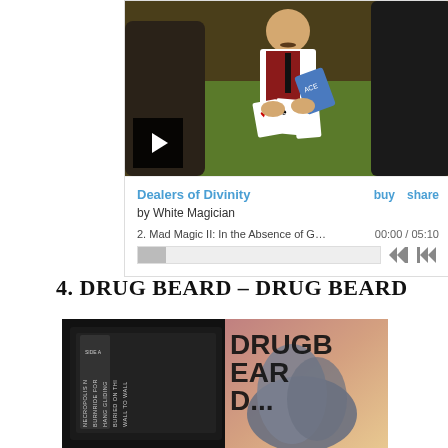[Figure (screenshot): Bandcamp music player embedded widget showing album art of a painted scene with a man in a red vest dealing cards at a table, with a play button overlay. Player shows 'Dealers of Divinity' by White Magician, track 2: Mad Magic II: In the Absence of Gods (Bad M...), time 00:00 / 05:10, with progress bar and skip controls.]
4. DRUG BEARD – DRUG BEARD
[Figure (screenshot): Album cover for Drug Beard - Drug Beard showing a cassette tape with track listing on Side A and the text DRUGB... visible on the right half against a gradient background.]